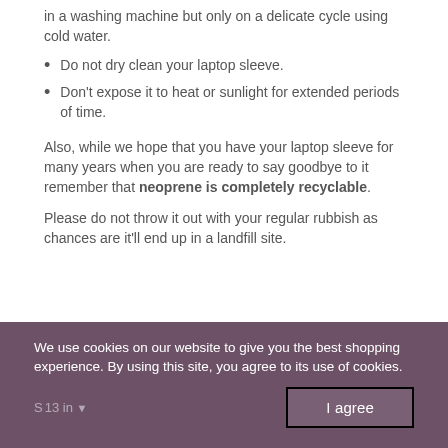in a washing machine but only on a delicate cycle using cold water.
Do not dry clean your laptop sleeve.
Don't expose it to heat or sunlight for extended periods of time.
Also, while we hope that you have your laptop sleeve for many years when you are ready to say goodbye to it remember that neoprene is completely recyclable.
Please do not throw it out with your regular rubbish as chances are it'll end up in a landfill site.
We use cookies on our website to give you the best shopping experience. By using this site, you agree to its use of cookies.
13 in
I agree